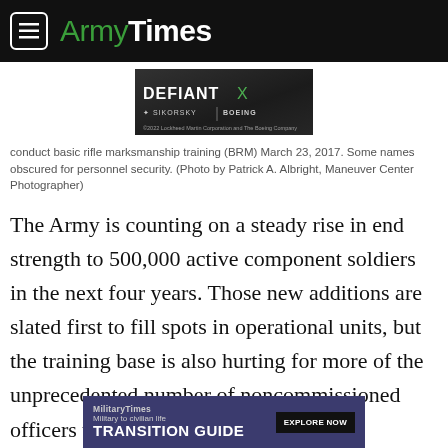ArmyTimes
[Figure (photo): Defiant X advertisement banner featuring Sikorsky and Boeing logos with helicopter imagery. Text reads: DEFIANT X, SIKORSKY, BOEING, ©2022 Lockheed Martin Corporation and The Boeing Company]
conduct basic rifle marksmanship training (BRM) March 23, 2017. Some names obscured for personnel security. (Photo by Patrick A. Albright, Maneuver Center Photographer)
The Army is counting on a steady rise in end strength to 500,000 active component soldiers in the next four years. Those new additions are slated first to fill spots in operational units, but the training base is also hurting for more of the unprecedented number of noncommissioned officers who have been re-enlisting.
[Figure (photo): MilitaryTimes advertisement banner. Text reads: MilitaryTimes, Military to civilian life, TRANSITION GUIDE, EXPLORE NOW]